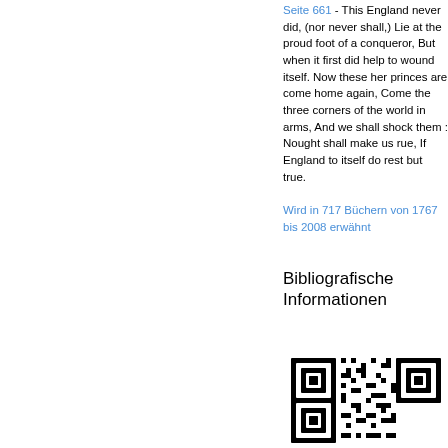Seite 661 - This England never did, (nor never shall,) Lie at the proud foot of a conqueror, But when it first did help to wound itself. Now these her princes are come home again, Come the three corners of the world in arms, And we shall shock them : Nought shall make us rue, If England to itself do rest but true.
Wird in 717 Büchern von 1767 bis 2008 erwähnt
Bibliografische Informationen
[Figure (other): QR code for bibliographic information]